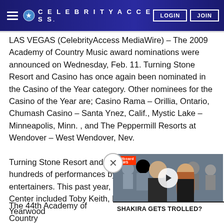CELEBRITYACCESS. LOGIN JOIN
LAS VEGAS (CelebrityAccess MediaWire) – The 2009 Academy of Country Music award nominations were announced on Wednesday, Feb. 11. Turning Stone Resort and Casino has once again been nominated in the Casino of the Year category. Other nominees for the Casino of the Year are; Casino Rama – Orillia, Ontario, Chumash Casino – Santa Ynez, Calif., Mystic Lake – Minneapolis, Minn. , and The Peppermill Resorts at Wendover – West Wendover, Nev.
Turning Stone Resort and Casino has featured hundreds of performances by country music's top entertainers. This past year, headliners in the Sho[w] Center included Toby Keith, Ra[ndy Travis,] Crystal Gayle, Trisha Yearwood[...]
[Figure (other): Video advertisement overlay showing two people (man and woman). Caption reads: SHAKIRA GETS TROLLED? Billboard News logo visible.]
The 44th Academy of Country [Music...]